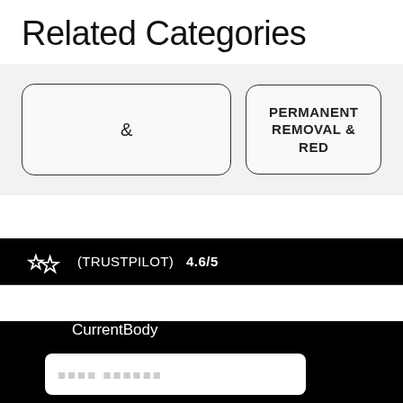Related Categories
[Figure (screenshot): Two category pill buttons: one with '&' and one partially visible with 'PERMANENT REMOVAL & RED...' on a light gray background]
(TRUSTPILOT) 4.6/5
CurrentBody
[Figure (screenshot): Input field with placeholder dots on black background]